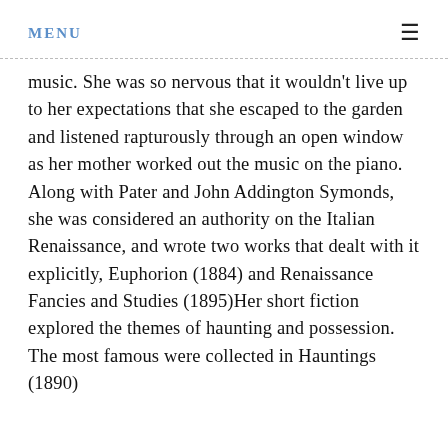MENU
music. She was so nervous that it wouldn't live up to her expectations that she escaped to the garden and listened rapturously through an open window as her mother worked out the music on the piano. Along with Pater and John Addington Symonds, she was considered an authority on the Italian Renaissance, and wrote two works that dealt with it explicitly, Euphorion (1884) and Renaissance Fancies and Studies (1895)Her short fiction explored the themes of haunting and possession. The most famous were collected in Hauntings (1890)